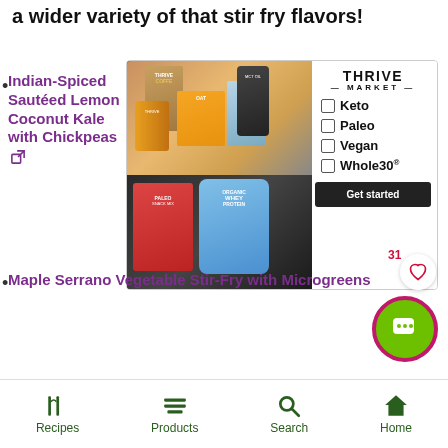a wider variety of that stir fry flavors!
Indian-Spiced Sautéed Lemon Coconut Kale with Chickpeas
[Figure (photo): Thrive Market advertisement showing pantry products (OAT, MCT Oil, Paleo Snack Mix, Organic Whey Protein) with diet filter checkboxes (Keto, Paleo, Vegan, Whole30) and a Get started button]
Maple Serrano Vegetable Stir-Fry with Microgreens
Recipes  Products  Search  Home